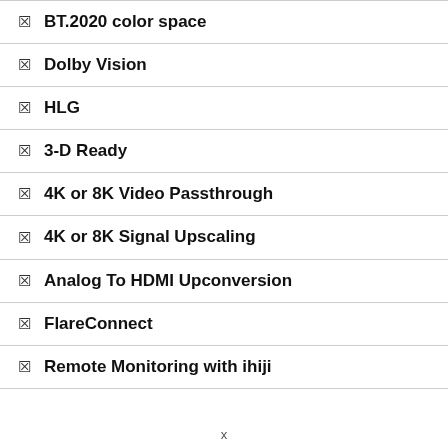BT.2020 color space
Dolby Vision
HLG
3-D Ready
4K or 8K Video Passthrough
4K or 8K Signal Upscaling
Analog To HDMI Upconversion
FlareConnect
Remote Monitoring with ihiji
x